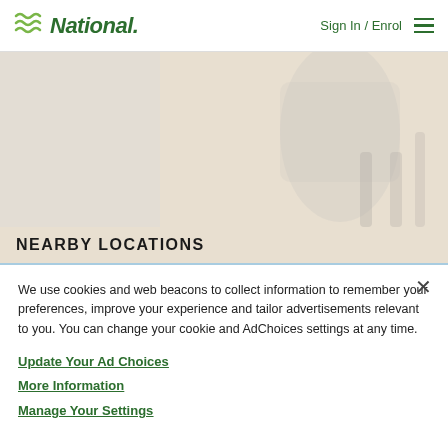National — Sign In / Enrol
[Figure (photo): Hero banner image showing partial view of a vehicle and background, with beige/cream tone]
NEARBY LOCATIONS
We use cookies and web beacons to collect information to remember your preferences, improve your experience and tailor advertisements relevant to you. You can change your cookie and AdChoices settings at any time.
Update Your Ad Choices
More Information
Manage Your Settings